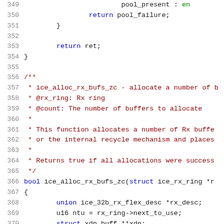[Figure (screenshot): Source code listing in C showing lines 349-370, including a return statement for pool_failure, a closing brace, return ret, a closing brace for a function, a Doxygen comment block for ice_alloc_rx_bufs_zc function, and the start of the function definition with local variable declarations.]